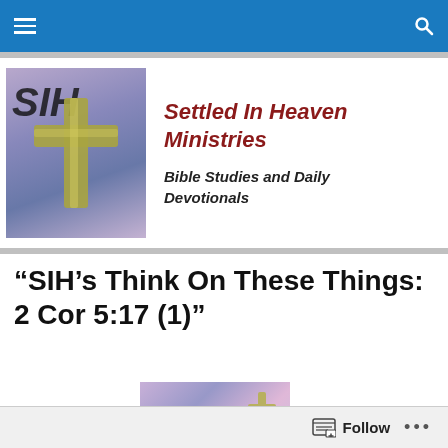Navigation bar with hamburger menu and search icon
[Figure (logo): Settled In Heaven Ministries logo: cross image with SIH text on purple/blue background]
Settled In Heaven Ministries
Bible Studies and Daily Devotionals
“SIH’s Think On These Things: 2 Cor 5:17 (1)”
[Figure (illustration): SIH's article header image with cross and purple/pink cloudy background]
Follow ...